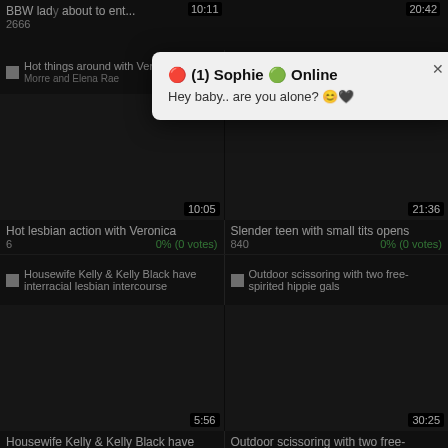[Figure (screenshot): Adult video website screenshot showing a grid of video thumbnails with titles, view counts, and vote percentages. A popup notification overlay is present showing a message from 'Sophie' saying 'Hey baby.. are you alone?']
BBW lady... 2666
Hot (things around with Veronica ... Morre and Elena Rae)
Slender com ark small tits spare her little pussy
10:05
21:36
Hot lesbian action with Veronica
6   0% (0 votes)
Slender teen with small tits opens
840   0% (0 votes)
Housewife Kelly & Kelly Black have interracial lesbian intercourse
Outdoor scissoring with two free-spirited hippie gals
5:56
30:25
Housewife Kelly & Kelly Black have
7   0% (0 votes)
Outdoor scissoring with two free-
846   0% (0 votes)
Deep anal fisting for the aroused minx
Japanese wives play lesbian games when hubbies are not home